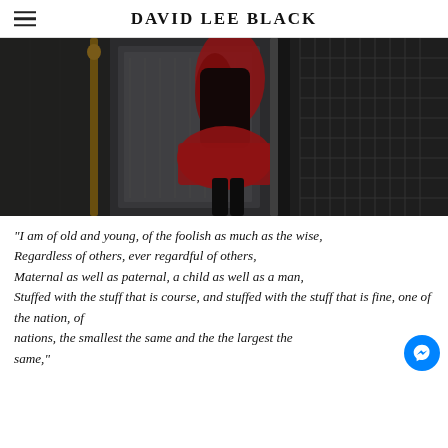DAVID LEE BLACK
[Figure (photo): Dark atmospheric photograph showing a person wearing a red outfit/skirt standing in what appears to be an alley or corridor with concrete walls and metal grating. The image is mostly dark with the red garment providing color contrast.]
“I am of old and young, of the foolish as much as the wise,
Regardless of others, ever regardful of others,
Maternal as well as paternal, a child as well as a man,
Stuffed with the stuff that is course, and stuffed with the stuff that is fine, one of the nation, of nations, the smallest the same and the the largest the same,”